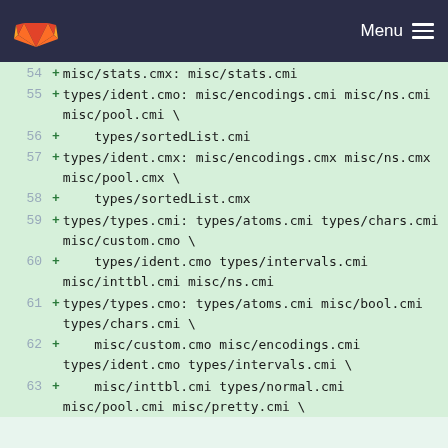GitLab — Menu
54 + misc/stats.cmx: misc/stats.cmi
55 + types/ident.cmo: misc/encodings.cmi misc/ns.cmi misc/pool.cmi \
56 +     types/sortedList.cmi
57 + types/ident.cmx: misc/encodings.cmx misc/ns.cmx misc/pool.cmx \
58 +     types/sortedList.cmx
59 + types/types.cmi: types/atoms.cmi types/chars.cmi misc/custom.cmo \
60 +     types/ident.cmo types/intervals.cmi misc/inttbl.cmi misc/ns.cmi
61 + types/types.cmo: types/atoms.cmi misc/bool.cmi types/chars.cmi \
62 +     misc/custom.cmo misc/encodings.cmi types/ident.cmo types/intervals.cmi \
63 +     misc/inttbl.cmi types/normal.cmi misc/pool.cmi misc/pretty.cmi \